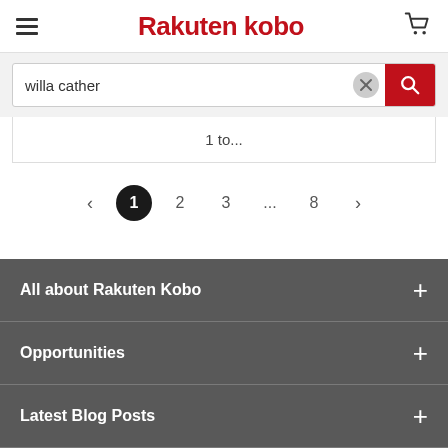[Figure (screenshot): Rakuten Kobo website header with hamburger menu on left, Rakuten kobo logo in center, and shopping cart icon on right]
[Figure (screenshot): Search bar containing the text 'willa cather' with a clear (X) button and a red search button]
1 to...
[Figure (screenshot): Pagination controls showing: < 1 2 3 ... 8 >]
All about Rakuten Kobo +
Opportunities +
Latest Blog Posts +